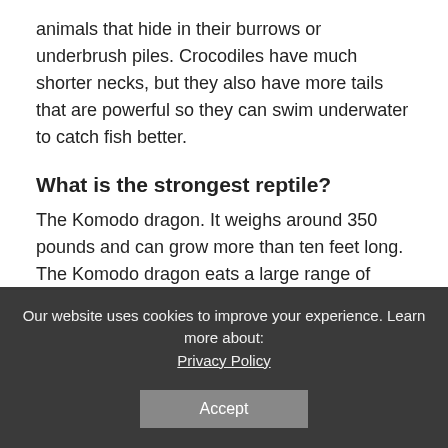animals that hide in their burrows or underbrush piles. Crocodiles have much shorter necks, but they also have more tails that are powerful so they can swim underwater to catch fish better.
What is the strongest reptile?
The Komodo dragon. It weighs around 350 pounds and can grow more than ten feet long. The Komodo dragon eats a large range of animals, including deer, pigs, and even smaller dragons!
Who was the largest lizard that ever lived?
The largest lizard that ever lived was a prehistoric marine reptile called the Mosasaurus. The size of this giant predator, which grew to 65 feet long and ate other dinosaurs, has been estimated
Our website uses cookies to improve your experience. Learn more about: Privacy Policy
Accept